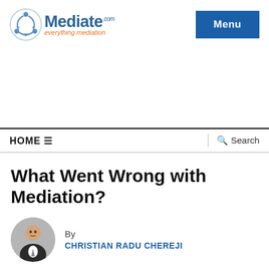[Figure (logo): Mediate.com logo with circular icon and tagline 'everything mediation']
[Figure (other): Menu button (blue rectangle with white text 'Menu')]
[Figure (other): Advertisement/white space area]
HOME ☰
🔍 Search
What Went Wrong with Mediation?
By
CHRISTIAN RADU CHEREJI
[Figure (photo): Circular headshot photo of Christian Radu Chereji in a suit]